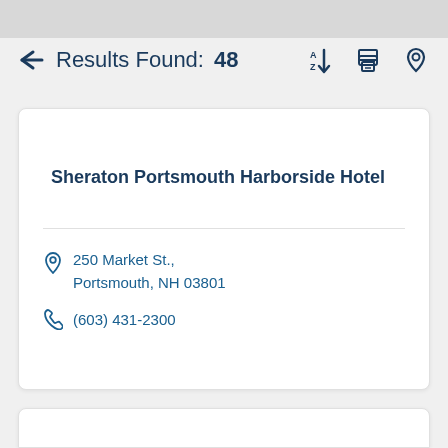Results Found: 48
Sheraton Portsmouth Harborside Hotel
250 Market St., Portsmouth, NH 03801
(603) 431-2300